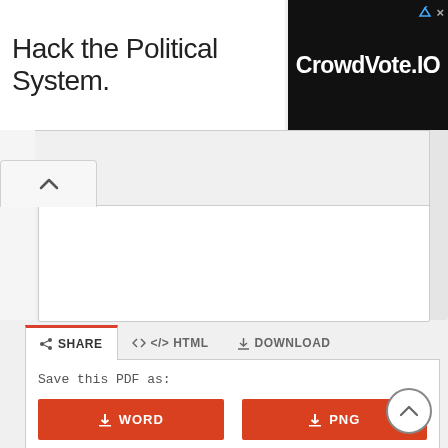Hack the Political System.
[Figure (screenshot): Advertisement banner with black background showing 'CrowdVote.IO' in white bold text with small navigation icons in top right corner]
[Figure (screenshot): Web interface showing a tab navigation bar with SHARE (active, red top border), HTML, and DOWNLOAD tabs, and a panel with 'Save this PDF as:' and four download buttons: WORD, PNG, TXT, JPG in orange-red color]